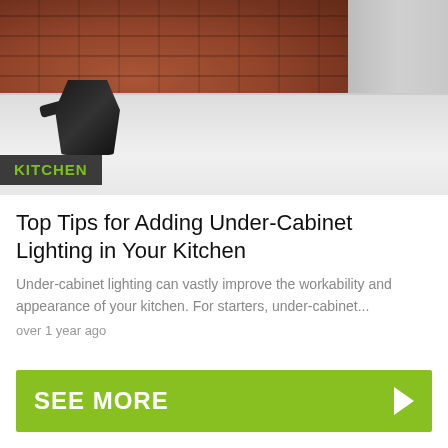[Figure (photo): Kitchen photo showing a black electric kettle on a concrete countertop with a red brick backsplash wall and concrete wall on the right side]
KITCHEN
Top Tips for Adding Under-Cabinet Lighting in Your Kitchen
Under-cabinet lighting can vastly improve the workability and appearance of your kitchen. For starters, under-cabinet...
over 1 year ago
SEE MORE